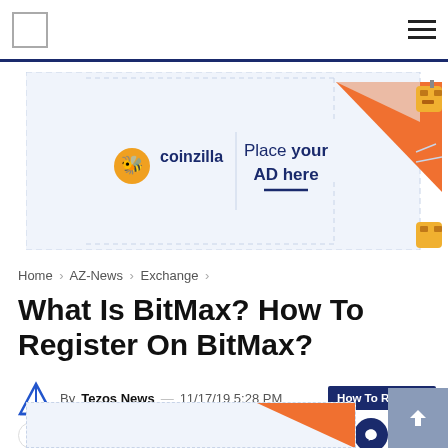Navigation bar with logo and hamburger menu
[Figure (illustration): Coinzilla advertisement banner: 'Place your AD here' with orange triangle graphic and cartoon character]
Home > AZ-News > Exchange >
What Is BitMax? How To Register On BitMax?
By Tezos News — 11/17/19 5:28 PM   How To Register
[Figure (infographic): Share buttons row: Share button and social media icons for Facebook, Twitter, Telegram, WhatsApp, Reddit, LinkedIn, Line]